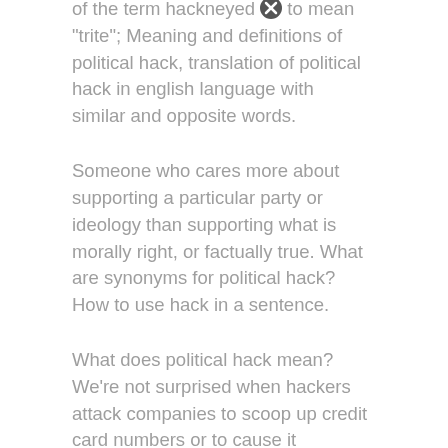of the term hackneyed to mean "trite"; Meaning and definitions of political hack, translation of political hack in english language with similar and opposite words.
Someone who cares more about supporting a particular party or ideology than supporting what is morally right, or factually true. What are synonyms for political hack? How to use hack in a sentence.
What does political hack mean? We're not surprised when hackers attack companies to scoop up credit card numbers or to cause it disruption. When a cyber attack is a political weapon.
A politician who belongs to a small clique that controls a political party for private rather than public ends familiarity information: The meaning